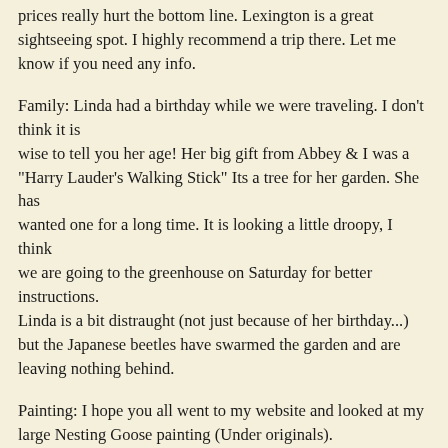prices really hurt the bottom line. Lexington is a great sightseeing spot. I highly recommend a trip there. Let me know if you need any info.
Family: Linda had a birthday while we were traveling. I don't think it is wise to tell you her age! Her big gift from Abbey & I was a "Harry Lauder's Walking Stick" Its a tree for her garden. She has wanted one for a long time. It is looking a little droopy, I think we are going to the greenhouse on Saturday for better instructions. Linda is a bit distraught (not just because of her birthday...) but the Japanese beetles have swarmed the garden and are leaving nothing behind.
Painting: I hope you all went to my website and looked at my large Nesting Goose painting (Under originals).
I have her in the kitchen so I can enjoy her for a while.
I am really happy with the way she turned out.
For the purpose of education, I thought I would give you a bit of info on how I work. I tend to focus on whatever new places I have visited. And lately I have been to two Shaker Villages so I may be heavy on Shaker bids. I should say anything. I like painting